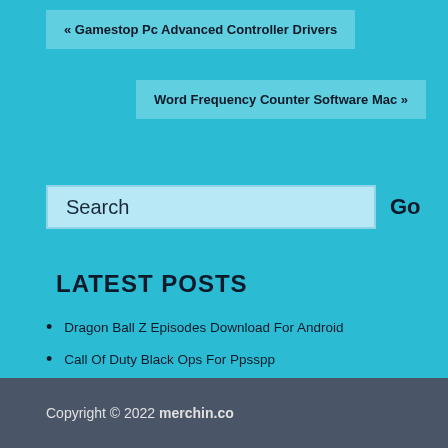« Gamestop Pc Advanced Controller Drivers
Word Frequency Counter Software Mac »
Search
LATEST POSTS
Dragon Ball Z Episodes Download For Android
Call Of Duty Black Ops For Ppsspp
Fl St4udio 12 Serial Key
Download Ivona Brian Voice
Copyright © 2022 merchin.co